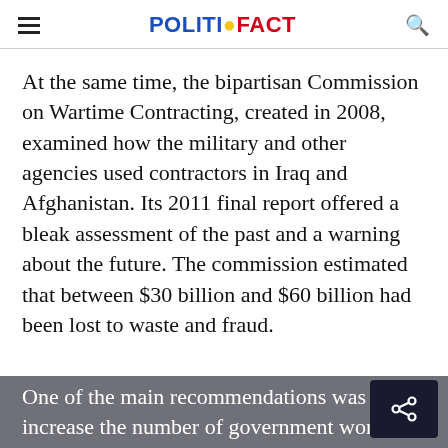POLITIFACT
At the same time, the bipartisan Commission on Wartime Contracting, created in 2008, examined how the military and other agencies used contractors in Iraq and Afghanistan. Its 2011 final report offered a bleak assessment of the past and a warning about the future. The commission estimated that between $30 billion and $60 billion had been lost to waste and fraud.
One of the main recommendations was to increase the number of government work